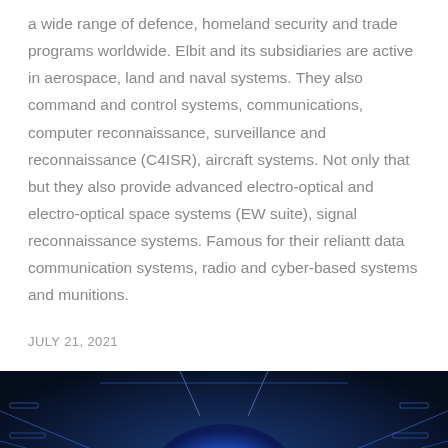a wide range of defence, homeland security and trade programs worldwide. Elbit and its subsidiaries are active in aerospace, land and naval systems. They also command and control systems, communications, computer reconnaissance, surveillance and reconnaissance (C4ISR), aircraft systems. Not only that but they also provide advanced electro-optical and electro-optical space systems (EW suite), signal reconnaissance systems. Famous for their reliantt data communication systems, radio and cyber-based systems and munitions.
JULY 21, 2021
[Figure (photo): A dark blue digital illustration of a human brain surrounded by glowing circuit board lines and electronic data patterns, suggesting artificial intelligence or cyber technology themes.]